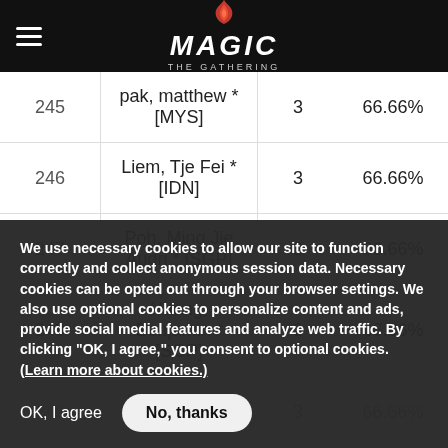Magic: The Gathering — navigation bar with logo
| # | Name | Pts | % |
| --- | --- | --- | --- |
| 245 | pak, matthew * [MYS] | 3 | 66.66% |
| 246 | Liem, Tje Fei * [IDN] | 3 | 66.66% |
| 247 | Poh, Ming Jie Audri * [SGP] | 3 | 66.66% |
| 248 | Huang, Benjamin * [SGP] | 3 | 66.66% |
| 249 | Muralithoran, Hari * [MYS] | 3 | 66.66% |
We use necessary cookies to allow our site to function correctly and collect anonymous session data. Necessary cookies can be opted out through your browser settings. We also use optional cookies to personalize content and ads, provide social medial features and analyze web traffic. By clicking “OK, I agree,” you consent to optional cookies. (Learn more about cookies.)
OK, I agree
No, thanks